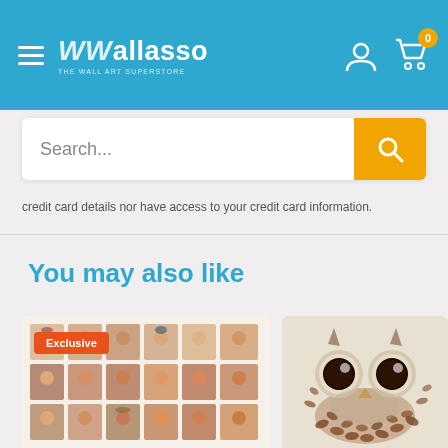Wallasso - The Wall Art Superstore
credit card details nor have access to your credit card information.
You may also like
[Figure (photo): Grid of Native American portrait illustrations arranged in rows and columns, product card with Exclusive badge]
[Figure (photo): Coffee beans and coffee cups arranged to form an owl shape, partially visible product card]